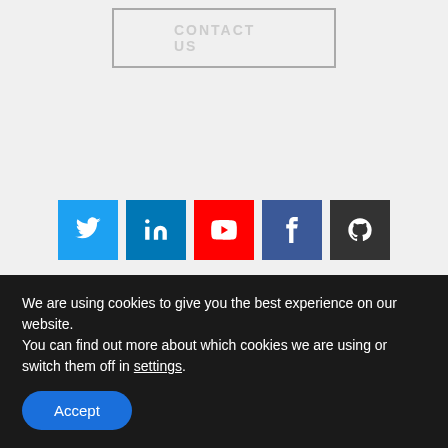[Figure (other): CONTACT US button with grey border]
[Figure (other): Social media icons row: Twitter (blue), LinkedIn (blue), YouTube (red), Facebook (dark blue), GitHub (dark grey)]
[Figure (logo): Esri Partner Network Silver badge with globe logo]
[Figure (logo): ArcGIS Marketplace Provider badge with esri icon]
[Figure (logo): Geocortex Business Partner badge with green text and bar]
We are using cookies to give you the best experience on our website.
You can find out more about which cookies we are using or switch them off in settings.
Accept